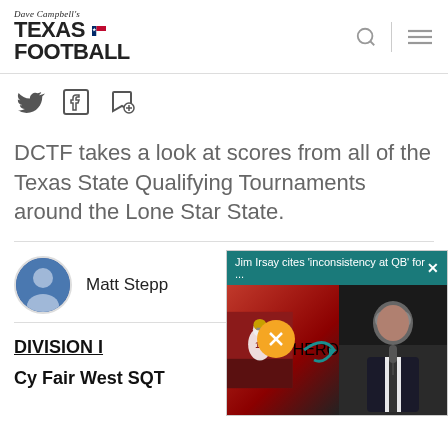Dave Campbell's Texas Football
DCTF takes a look at scores from all of the Texas State Qualifying Tournaments around the Lone Star State.
Matt Stepp
DIVISION I
Cy Fair West SQT
[Figure (screenshot): Ad overlay showing Jim Irsay cites 'inconsistency at QB' for ... with a football player and Jim Irsay image]